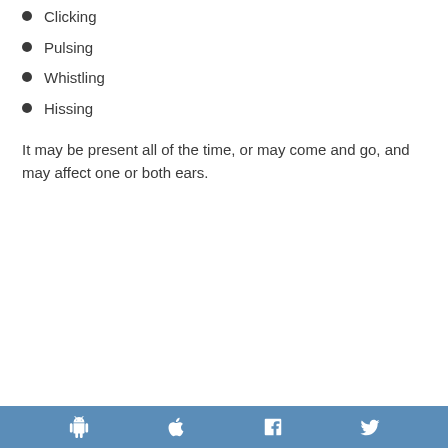Clicking
Pulsing
Whistling
Hissing
It may be present all of the time, or may come and go, and may affect one or both ears.
Social media icons: Android, Apple, Facebook, Twitter